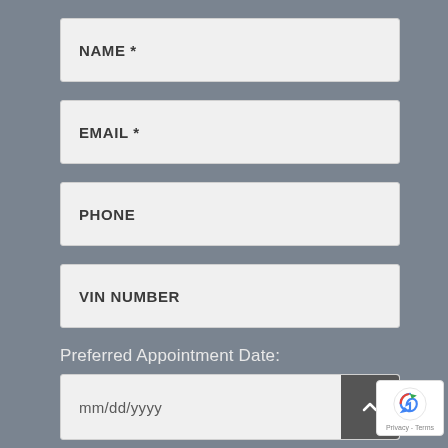NAME *
EMAIL *
PHONE
VIN NUMBER
Preferred Appointment Date:
mm/dd/yyyy
[Figure (screenshot): reCAPTCHA badge with Privacy and Terms links]